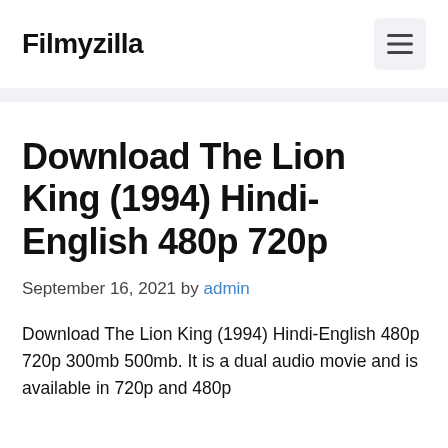Filmyzilla
Download The Lion King (1994) Hindi-English 480p 720p
September 16, 2021 by admin
Download The Lion King (1994) Hindi-English 480p 720p 300mb 500mb. It is a dual audio movie and is available in 720p and 480p